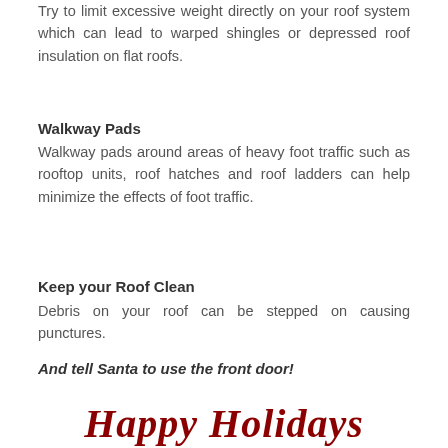Try to limit excessive weight directly on your roof system which can lead to warped shingles or depressed roof insulation on flat roofs.
Walkway Pads
Walkway pads around areas of heavy foot traffic such as rooftop units, roof hatches and roof ladders can help minimize the effects of foot traffic.
Keep your Roof Clean
Debris on your roof can be stepped on causing punctures.
And tell Santa to use the front door!
Happy Holidays